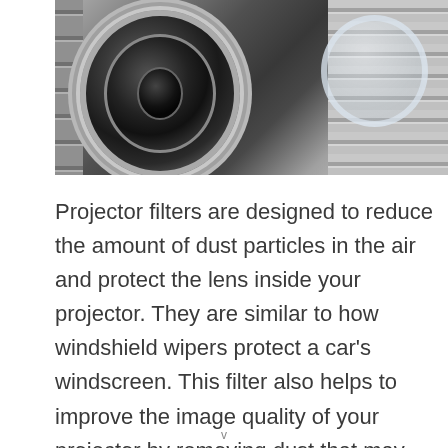[Figure (photo): Close-up photo of projector filters/lenses showing a large circular lens on the left and a smaller transparent ring on the right, both mounted on a gray vented panel with horizontal slats.]
Projector filters are designed to reduce the amount of dust particles in the air and protect the lens inside your projector. They are similar to how windshield wipers protect a car's windscreen. This filter also helps to improve the image quality of your projector by removing dust that may otherwise scatter on it,